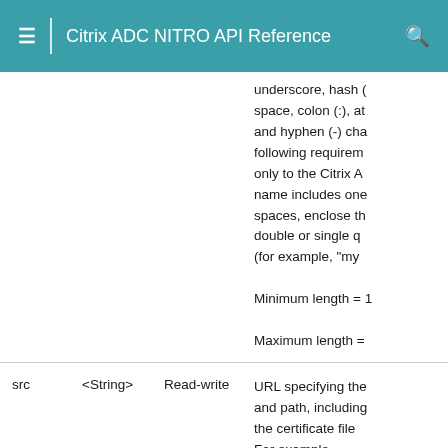Citrix ADC NITRO API Reference
|  |  |  |  |
| --- | --- | --- | --- |
|  |  |  | underscore, hash (…space, colon (:), at…and hyphen (-) cha…following requirem…only to the Citrix A…name includes one…spaces, enclose th…double or single q…(for example, "my …

Minimum length = 1

Maximum length = … |
| src | <String> | Read-write | URL specifying the…and path, including…the certificate file…For example,
http://www.exampl… |